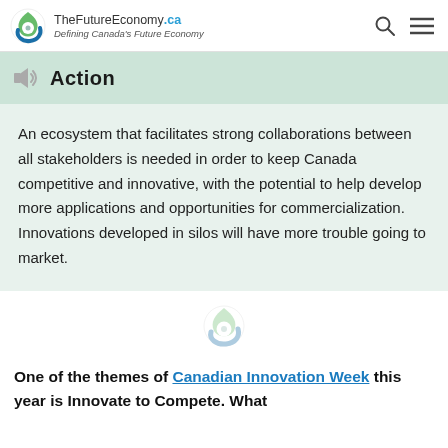TheFutureEconomy.ca — Defining Canada's Future Economy
Action
An ecosystem that facilitates strong collaborations between all stakeholders is needed in order to keep Canada competitive and innovative, with the potential to help develop more applications and opportunities for commercialization. Innovations developed in silos will have more trouble going to market.
[Figure (logo): TheFutureEconomy.ca watermark logo icon]
One of the themes of Canadian Innovation Week this year is Innovate to Compete. What